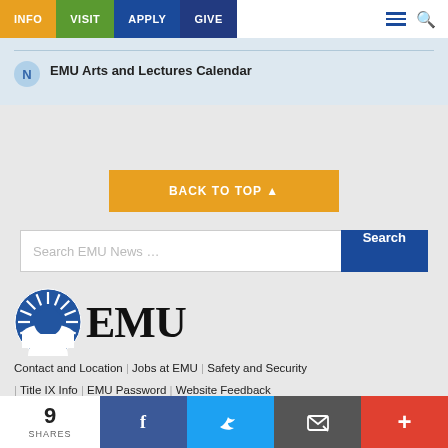INFO | VISIT | APPLY | GIVE
EMU Arts and Lectures Calendar
BACK TO TOP ▲
Search EMU News ...
[Figure (logo): EMU (Eastern Michigan University) logo with sunburst circle icon and 'EMU' text in serif font]
Contact and Location | Jobs at EMU | Safety and Security | Title IX Info | EMU Password | Website Feedback
9 SHARES | Facebook | Twitter | Email | More